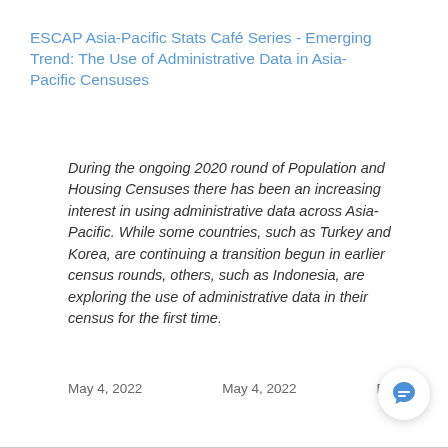ESCAP Asia-Pacific Stats Café Series - Emerging Trend: The Use of Administrative Data in Asia-Pacific Censuses
During the ongoing 2020 round of Population and Housing Censuses there has been an increasing interest in using administrative data across Asia-Pacific. While some countries, such as Turkey and Korea, are continuing a transition begun in earlier census rounds, others, such as Indonesia, are exploring the use of administrative data in their census for the first time.
May 4, 2022    May 4, 2022    Event